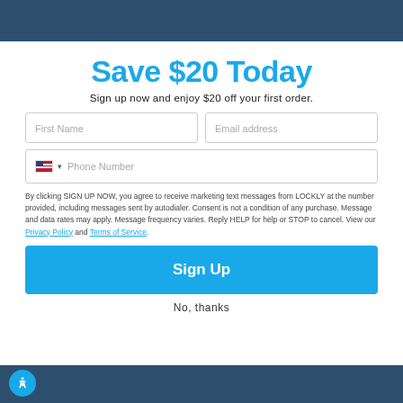Save $20 Today
Sign up now and enjoy $20 off your first order.
First Name
Email address
Phone Number
By clicking SIGN UP NOW, you agree to receive marketing text messages from LOCKLY at the number provided, including messages sent by autodialer. Consent is not a condition of any purchase. Message and data rates may apply. Message frequency varies. Reply HELP for help or STOP to cancel. View our Privacy Policy and Terms of Service.
Sign Up
No, thanks